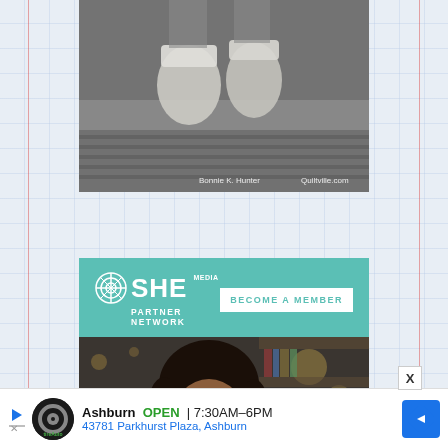[Figure (photo): Top partial photo showing feet/socks on a textured surface (quilt or rug), with watermarks 'Bonnie K. Hunter' and 'Quiltville.com']
[Figure (infographic): SHE Media Partner Network advertisement. Teal background with logo, 'BECOME A MEMBER' button, photo of smiling woman with glasses on laptop, tagline 'WE HELP CONTENT CREATORS GROW BUSINESSES THROUGH...' and 'LEARN MORE' button.]
[Figure (infographic): Bottom banner ad for an auto business in Ashburn: OPEN 7:30AM-6PM, 43781 Parkhurst Plaza, Ashburn. Shows circular logo, navigation arrow icon.]